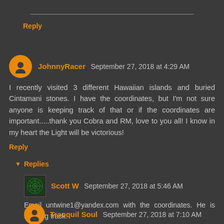Reply
JohnnyRacer  September 27, 2018 at 4:29 AM
I recently visited 3 different Hawaiian islands and buried Cintamani stones. I have the coordinates, but I'm not sure anyone is keeping track of that or if the coordinates are important.....thank you Cobra and RM, love to you all! I know in my heart the Light will be victorious!
Reply
Replies
Scott W  September 27, 2018 at 5:46 AM
Email untwine1@yandex.com with the coordinates. He is keeping track.
Tranquil Soul  September 27, 2018 at 7:10 AM